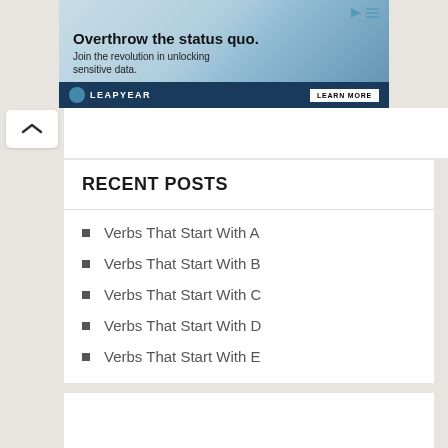[Figure (illustration): Advertisement banner for Leapyear with headline 'Overthrow the status quo. Join the revolution in unlocking sensitive data.' with chain image and Learn More button on dark blue bar]
RECENT POSTS
Verbs That Start With A
Verbs That Start With B
Verbs That Start With C
Verbs That Start With D
Verbs That Start With E